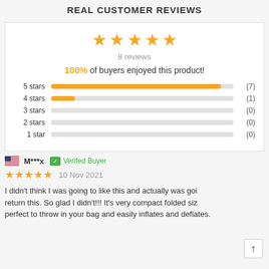REAL CUSTOMER REVIEWS
[Figure (other): Five gold star rating icons]
8 reviews
100% of buyers enjoyed this product!
[Figure (bar-chart): Star rating distribution]
🇺🇸 M***x  ✓ Verifed Buyer
★★★★★  10 Nov 2021
I didn't think I was going to like this and actually was goi return this. So glad I didn't!!! It's very compact folded siz perfect to throw in your bag and easily inflates and deflates.